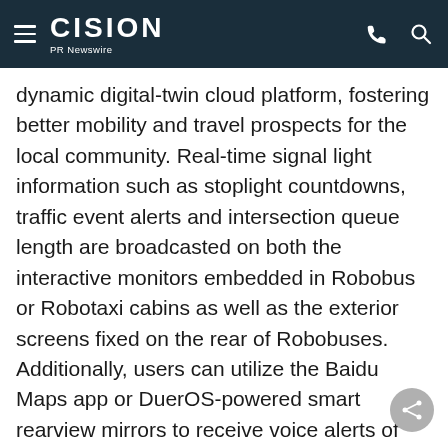CISION PR Newswire
dynamic digital-twin cloud platform, fostering better mobility and travel prospects for the local community. Real-time signal light information such as stoplight countdowns, traffic event alerts and intersection queue length are broadcasted on both the interactive monitors embedded in Robobus or Robotaxi cabins as well as the exterior screens fixed on the rear of Robobuses. Additionally, users can utilize the Baidu Maps app or DuerOS-powered smart rearview mirrors to receive voice alerts of electronic fence monitoring, access signal light reminders, live traffic event venue broadcasting and other connected online services.